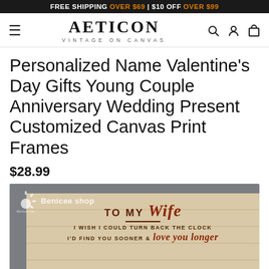FREE SHIPPING OVER $69 | $10 OFF OVER $99
[Figure (logo): Aeticon Vintage on Canvas logo with hamburger menu, search, account, and cart icons]
Personalized Name Valentine's Day Gifts Young Couple Anniversary Wedding Present Customized Canvas Print Frames
$28.99
[Figure (photo): Canvas print in dark gray frame showing 'TO MY Wife' text with 'I WISH I COULD TURN BACK THE CLOCK / I'D FIND YOU SOONER & love you longer' on wood-textured background, with Benicee shop logo]